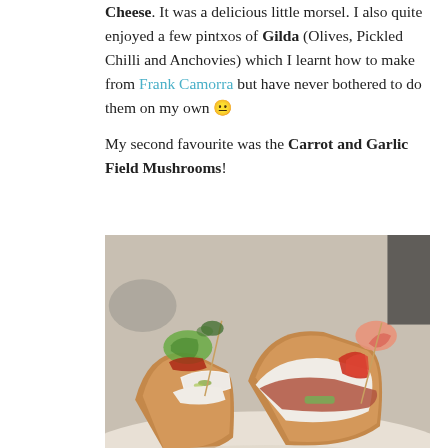Cheese. It was a delicious little morsel. I also quite enjoyed a few pintxos of Gilda (Olives, Pickled Chilli and Anchovies) which I learnt how to make from Frank Camorra but have never bothered to do them on my own 😐

My second favourite was the Carrot and Garlic Field Mushrooms!
[Figure (photo): Close-up photo of assorted pintxos (Spanish tapas) on slices of crusty bread, garnished with shrimp, roasted peppers, cream cheese, and various toppings, skewered with toothpicks, on a white plate.]